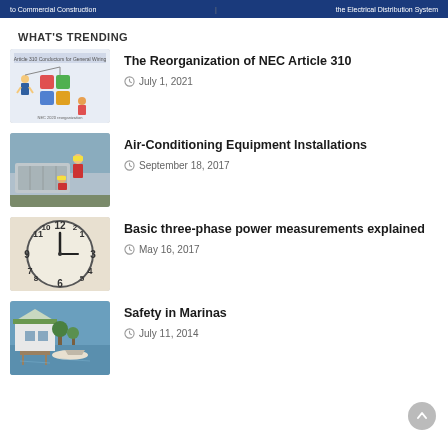to Commercial Construction | the Electrical Distribution System
WHAT'S TRENDING
[Figure (illustration): Article 310 conductors for general wiring illustration with cartoon construction workers and colorful building blocks]
The Reorganization of NEC Article 310
July 1, 2021
[Figure (photo): Workers installing air-conditioning equipment on rooftop]
Air-Conditioning Equipment Installations
September 18, 2017
[Figure (photo): Clock face close-up representing time/measurement]
Basic three-phase power measurements explained
May 16, 2017
[Figure (photo): Marina with boats and buildings near water]
Safety in Marinas
July 11, 2014